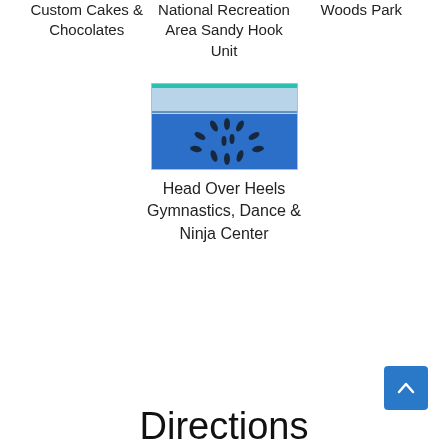Custom Cakes & Chocolates
National Recreation Area Sandy Hook Unit
Woods Park
[Figure (photo): Aerial/overhead view of a gymnastics gym with blue floor and participants arranged in a circle pattern]
Head Over Heels Gymnastics, Dance & Ninja Center
Directions